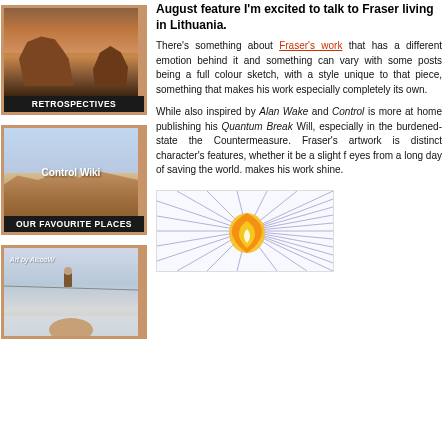[Figure (illustration): Card showing desert mesa landscape with text RETROSPECTIVES]
[Figure (illustration): Card showing rocky landscape with text Control Wiki and OUR FAVOURITE PLACES]
[Figure (illustration): Card showing snowy scene with figure, Art by AlcooW]
August feature I'm excited to talk to Fraser living in Lithuania.
There's something about Fraser's work that has a different emotion behind it and something that can vary with some posts being a full colour sketch, with a style unique to that piece, something that makes his work especially completely its own.
While also inspired by Alan Wake and Control is more at home publishing his Quantum Break Will, especially in the burdened-state the Countermeasure. Fraser's artwork is distinguished character's features, whether it be a slight f eyes from a long day of saving the world. makes his work shine.
[Figure (illustration): Sketch drawing showing geometric lines radiating outward with a flame-like orange shape in the center]